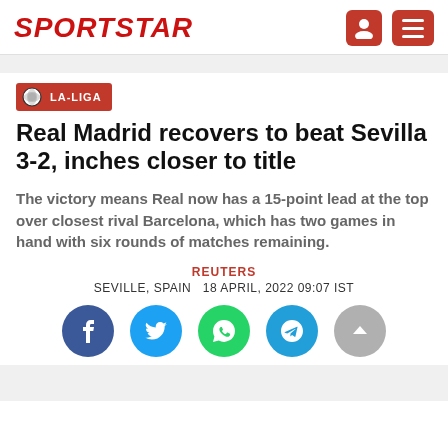SPORTSTAR
LA-LIGA
Real Madrid recovers to beat Sevilla 3-2, inches closer to title
The victory means Real now has a 15-point lead at the top over closest rival Barcelona, which has two games in hand with six rounds of matches remaining.
REUTERS
SEVILLE, SPAIN  18 APRIL, 2022 09:07 IST
[Figure (infographic): Social sharing buttons: Facebook, Twitter, WhatsApp, Telegram, and scroll-to-top arrow button]